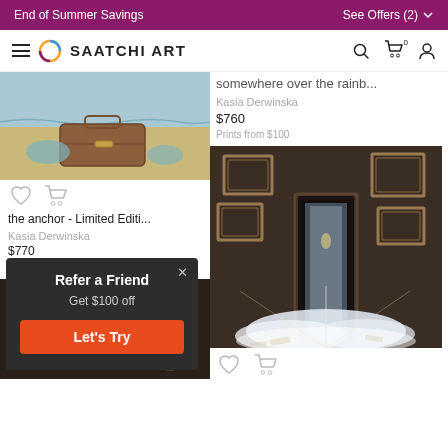End of Summer Savings   See Offers (2)
[Figure (screenshot): Saatchi Art website navigation bar with hamburger menu, logo, search, cart, and user icons]
[Figure (photo): Artwork: The anchor - Limited Edition by Kasia Derwinska, showing a suitcase on a beach]
[Figure (photo): Second artwork by Kasia Derwinska: somewhere over the rainb..., partial view]
the anchor - Limited Editi...
Kasia Derwinska
$770
Prints from $100
somewhere over the rainb...
Kasia Derwinska
$760
Prints from $100
[Figure (screenshot): Refer a Friend popup overlay: Get $100 off, Let's Try button]
[Figure (photo): Artwork showing a dark room with empty frames on a stone wall and a door with clouds/mist flooding in, light in background]